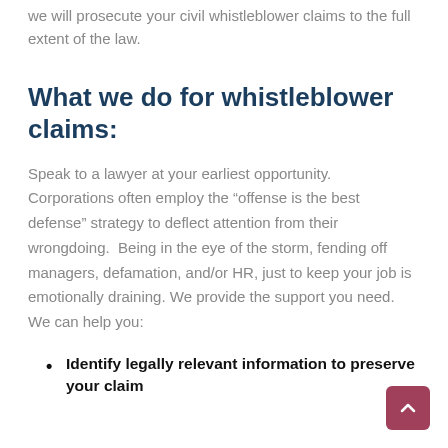we will prosecute your civil whistleblower claims to the full extent of the law.
What we do for whistleblower claims:
Speak to a lawyer at your earliest opportunity. Corporations often employ the “offense is the best defense” strategy to deflect attention from their wrongdoing.  Being in the eye of the storm, fending off managers, defamation, and/or HR, just to keep your job is emotionally draining. We provide the support you need. We can help you:
Identify legally relevant information to preserve your claim